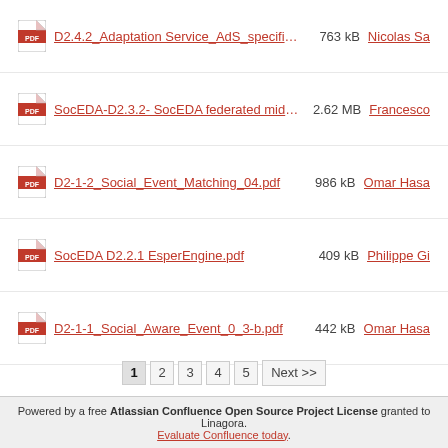D2.4.2_Adaptation Service_AdS_specification acco... 763 kB Nicolas Sa
SocEDA-D2.3.2- SocEDA federated middleware specifi... 2.62 MB Francesco
D2-1-2_Social_Event_Matching_04.pdf 986 kB Omar Hasa
SocEDA D2.2.1 EsperEngine.pdf 409 kB Philippe Gi
D2-1-1_Social_Aware_Event_0_3-b.pdf 442 kB Omar Hasa
1 2 3 4 5 Next >>
Powered by a free Atlassian Confluence Open Source Project License granted to Linagora. Evaluate Confluence today.